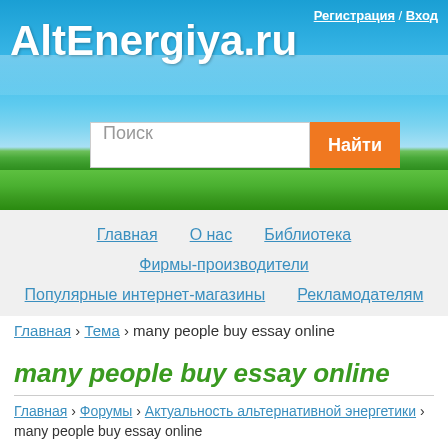[Figure (screenshot): Website banner with blue sky, grass, and site title AltEnergiya.ru with search bar]
Регистрация / Вход
AltEnergiya.ru
Поиск  Найти
Главная   О нас   Библиотека
Фирмы-производители
Популярные интернет-магазины   Рекламодателям
Главная › Тема › many people buy essay online
many people buy essay online
Главная › Форумы › Актуальность альтернативной энергетики › many people buy essay online